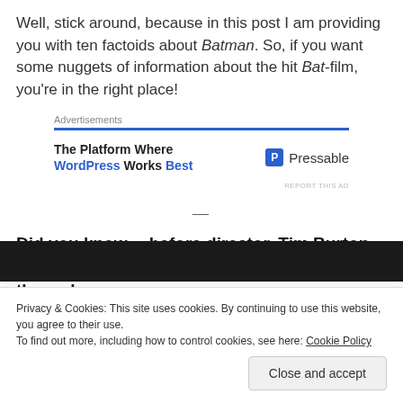Well, stick around, because in this post I am providing you with ten factoids about Batman. So, if you want some nuggets of information about the hit Bat-film, you're in the right place!
[Figure (other): Advertisement banner: 'The Platform Where WordPress Works Best' with Pressable logo]
—
Did you know… before director, Tim Burton was attached to Batman. the movie went through an
Privacy & Cookies: This site uses cookies. By continuing to use this website, you agree to their use. To find out more, including how to control cookies, see here: Cookie Policy
Close and accept